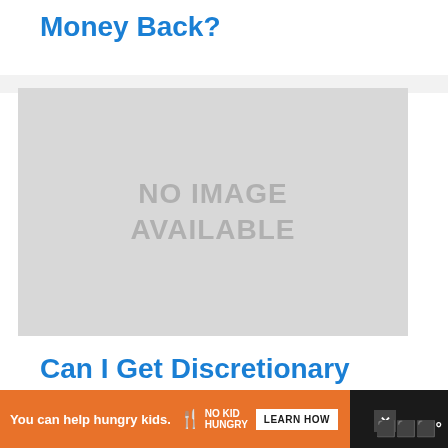Money Back?
[Figure (photo): Placeholder image with text NO IMAGE AVAILABLE on grey background]
Can I Get Discretionary Fund From Universal Credit?
You can help hungry kids. NO KID HUNGRY LEARN HOW